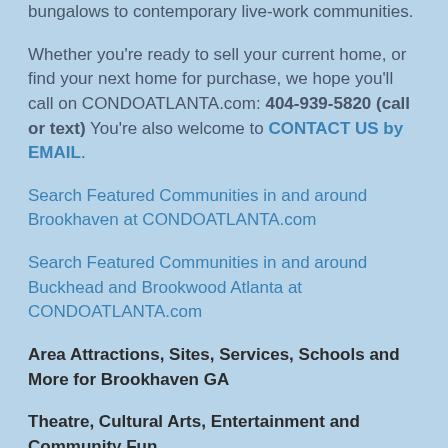bungalows to contemporary live-work communities.
Whether you're ready to sell your current home, or find your next home for purchase, we hope you'll call on CONDOATLANTA.com: 404-939-5820 (call or text) You're also welcome to CONTACT US by EMAIL.
Search Featured Communities in and around Brookhaven at CONDOATLANTA.com
Search Featured Communities in and around Buckhead and Brookwood Atlanta at CONDOATLANTA.com
Area Attractions, Sites, Services, Schools and More for Brookhaven GA
Theatre, Cultural Arts, Entertainment and Community Fun